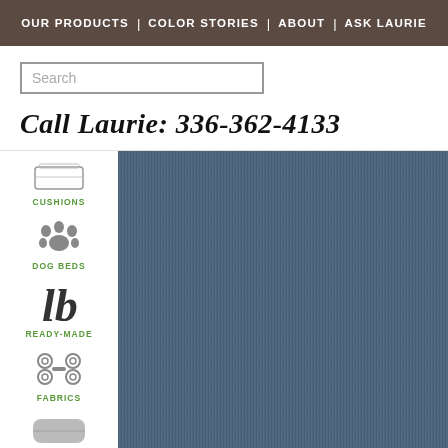OUR PRODUCTS | COLOR STORIES | ABOUT | ASK LAURIE
Search
Call Laurie: 336-362-4133
[Figure (illustration): Cushion icon]
CUSHIONS
[Figure (illustration): Dog paw icon]
DOG BEDS
[Figure (illustration): lb logo / ready-made icon]
READY-MADE
[Figure (illustration): Decorative scroll icon for fabrics]
FABRICS
[Figure (illustration): Pillow icon]
PILLOWS
[Figure (photo): Close-up of blue/navy woven fabric texture]